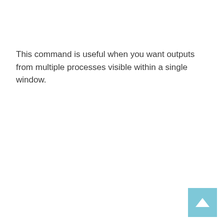This command is useful when you want outputs from multiple processes visible within a single window.
[Figure (other): Back to top button — a light blue square with a white upward-pointing chevron/arrow in the center, positioned at the bottom-right corner of the page.]